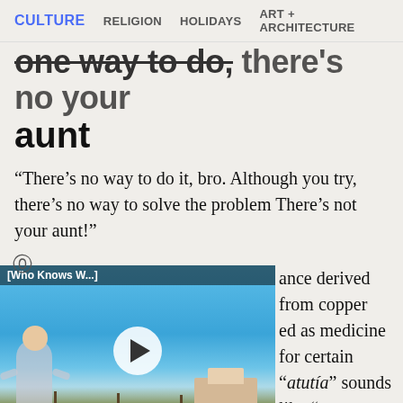CULTURE   RELIGION   HOLIDAYS   ART + ARCHITECTURE
one way to do it, there's no your aunt
“There’s no way to do it, bro. Although you try, there’s no way to solve the problem There’s not your aunt!”
[Figure (screenshot): Embedded video player thumbnail showing a woman on a dock/pier by the sea, with play button overlay. Video title: [Who Knows W...]]
ance derived from copper ed as medicine for certain “atutía” sounds like “tu aunt.” “There’s no atutía” was the original phrase to say that something had no remedy. Over time, distortions turned it into “there’s no tu tía”. So, when something has no solution, there’s no your aunt.